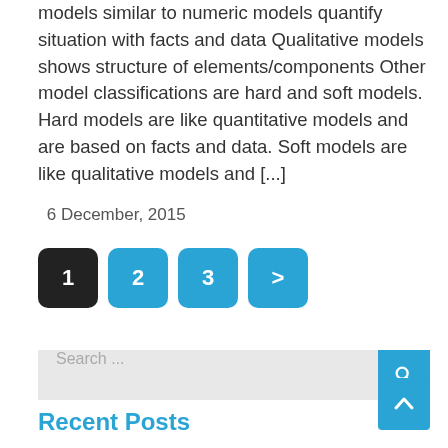models similar to numeric models quantify situation with facts and data Qualitative models shows structure of elements/components Other model classifications are hard and soft models. Hard models are like quantitative models and are based on facts and data. Soft models are like qualitative models and [...]
6 December, 2015
1 2 3 >
Search ...
Recent Posts